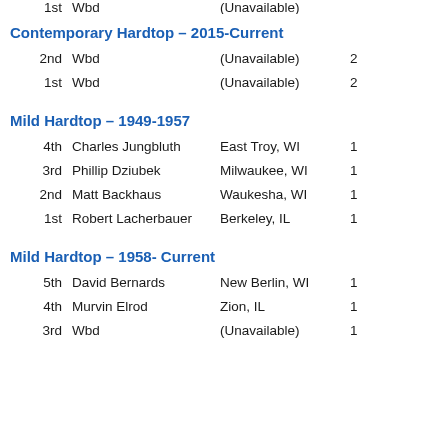1st  Wbd  (Unavailable)
Contemporary Hardtop – 2015-Current
2nd  Wbd  (Unavailable)
1st  Wbd  (Unavailable)
Mild Hardtop – 1949-1957
4th  Charles Jungbluth  East Troy, WI
3rd  Phillip Dziubek  Milwaukee, WI
2nd  Matt Backhaus  Waukesha, WI
1st  Robert Lacherbauer  Berkeley, IL
Mild Hardtop – 1958- Current
5th  David Bernards  New Berlin, WI
4th  Murvin Elrod  Zion, IL
3rd  Wbd  (Unavailable)